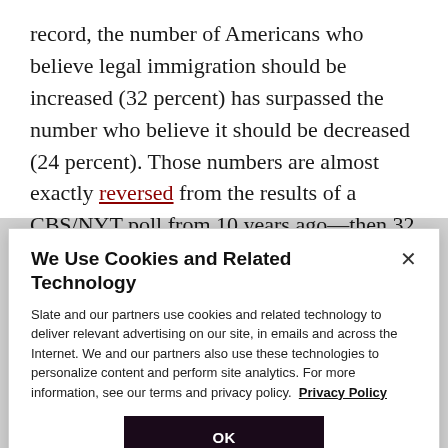record, the number of Americans who believe legal immigration should be increased (32 percent) has surpassed the number who believe it should be decreased (24 percent). Those numbers are almost exactly reversed from the results of a CBS/NYT poll from 10 years ago—then 32 percent of Americans favored decreasing legal immigration while 23 percent favored increasing it. That growth is corroborated by Gallup, which has been tracking opinions about increasing or
We Use Cookies and Related Technology
Slate and our partners use cookies and related technology to deliver relevant advertising on our site, in emails and across the Internet. We and our partners also use these technologies to personalize content and perform site analytics. For more information, see our terms and privacy policy. Privacy Policy